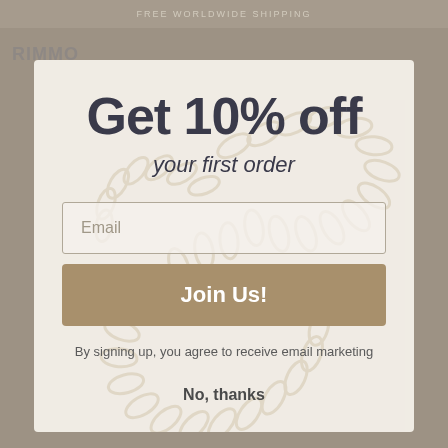FREE WORLDWIDE SHIPPING
Get 10% off
your first order
Email
Join Us!
By signing up, you agree to receive email marketing
No, thanks